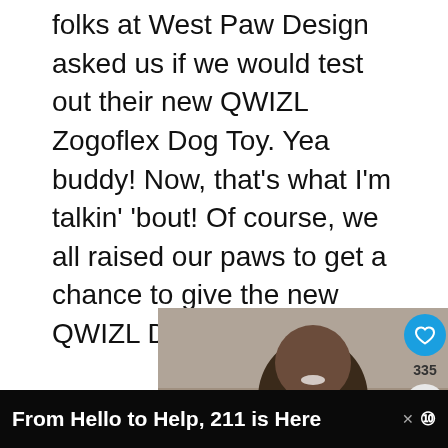folks at West Paw Design asked us if we would test out their new QWIZL Zogoflex Dog Toy. Yea buddy! Now, that’s what I’m talkin’ ’bout! Of course, we all raised our paws to get a chance to give the new QWIZL Dog Toy a try!
[Figure (photo): Advertisement showing a family photo on the left (man, woman, and child smiling together) and a dark teal panel on the right with a quote: “I didn’t understand what love really was until I met my children.” – Mom. Close button (X) in top right of ad. Right sidebar shows heart icon with 335 and share icon. A 'What's Next' promo for Win a Zogoflex... appears below sidebar.]
From Hello to Help, 211 is Here